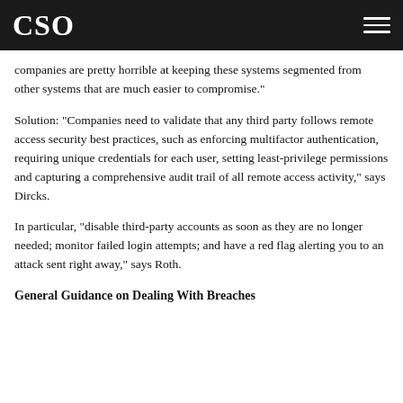CSO
companies are pretty horrible at keeping these systems segmented from other systems that are much easier to compromise."
Solution: "Companies need to validate that any third party follows remote access security best practices, such as enforcing multifactor authentication, requiring unique credentials for each user, setting least-privilege permissions and capturing a comprehensive audit trail of all remote access activity," says Dircks.
In particular, "disable third-party accounts as soon as they are no longer needed; monitor failed login attempts; and have a red flag alerting you to an attack sent right away," says Roth.
General Guidance on Dealing With Breaches